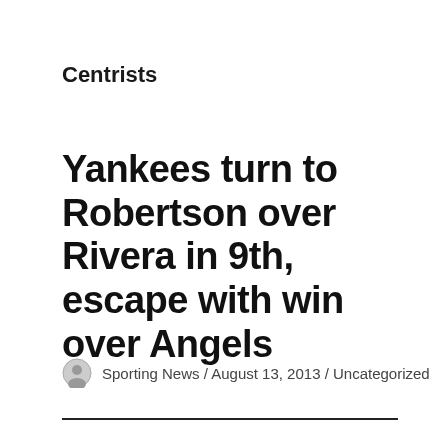Centrists
Yankees turn to Robertson over Rivera in 9th, escape with win over Angels
Sporting News / August 13, 2013 / Uncategorized